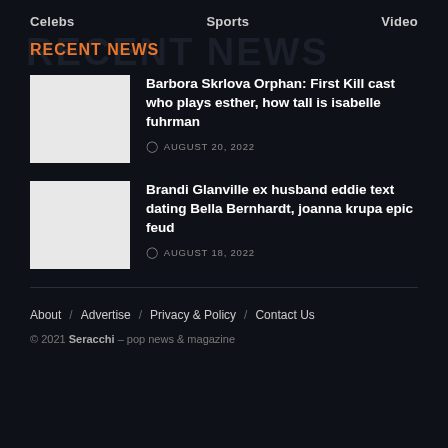Celebs   Sports   Video
RECENT NEWS
Barbora Skrlova Orphan: First Kill cast who plays esther, how tall is isabelle fuhrman
AUGUST 20, 2022
Brandi Glanville ex husband eddie text dating Bella Bernhardt, joanna krupa epic feud
AUGUST 18, 2022
About / Advertise / Privacy & Policy / Contact Us
© 2021 Seracchi – pop news & magazine